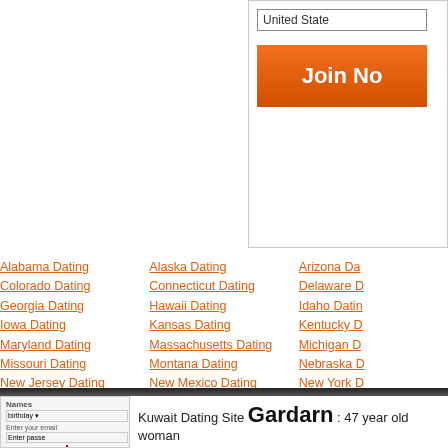[Figure (screenshot): Partial view of a dating site signup form with 'United States' dropdown and orange 'Join Now' button visible in top right corner]
Alabama Dating
Alaska Dating
Arizona Dating
Colorado Dating
Connecticut Dating
Delaware Dating
Georgia Dating
Hawaii Dating
Idaho Dating
Iowa Dating
Kansas Dating
Kentucky Dating
Maryland Dating
Massachusetts Dating
Michigan Dating
Missouri Dating
Montana Dating
Nebraska Dating
New Jersey Dating
New Mexico Dating
New York Dating
Ohio Dating
Oklahoma Dating
Oregon Dating
South Carolina Dating
South Dakota Dating
Tennessee Dating
Virginia Dating
Washington Dating
West Virginia Dating
Vermont Dating
Kuwait Dating Site Gardarn : 47 year old woman
"Ola"
ONLINE NOW